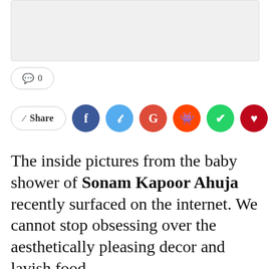[Figure (other): Advertisement placeholder banner, light gray rectangle with border]
💬 0
< Share [Facebook, Twitter, Google+, Reddit, WhatsApp, Pinterest, Email social share buttons]
The inside pictures from the baby shower of Sonam Kapoor Ahuja recently surfaced on the internet. We cannot stop obsessing over the aesthetically pleasing decor and lavish food